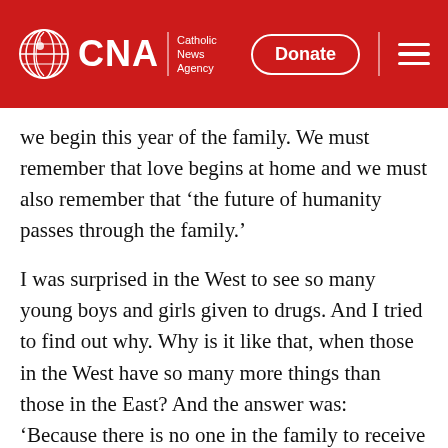CNA | Catholic News Agency — Donate
we begin this year of the family. We must remember that love begins at home and we must also remember that ‘the future of humanity passes through the family.’
I was surprised in the West to see so many young boys and girls given to drugs. And I tried to find out why. Why is it like that, when those in the West have so many more things than those in the East? And the answer was: ‘Because there is no one in the family to receive them.’ Our children depend on us for everything — their health, their nutrition, their security, their coming to know and love God. For all of this